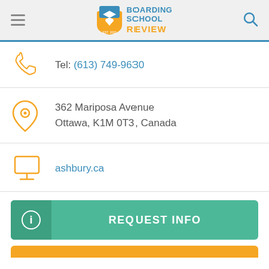Boarding School Review EST. 2003
Tel: (613) 749-9630
362 Mariposa Avenue
Ottawa, K1M 0T3, Canada
ashbury.ca
REQUEST INFO